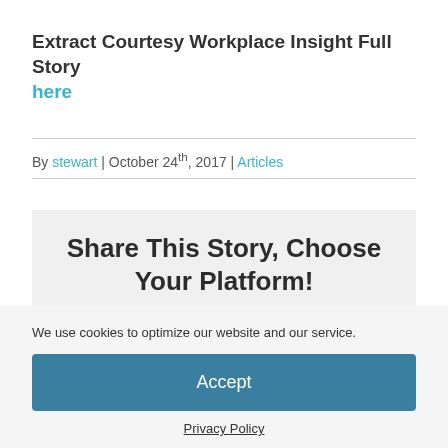Extract Courtesy Workplace Insight Full Story here
By stewart | October 24th, 2017 | Articles
Share This Story, Choose Your Platform!
We use cookies to optimize our website and our service.
Accept
Privacy Policy